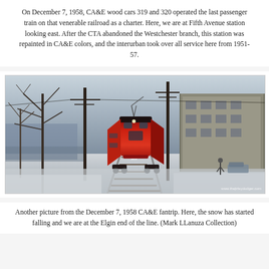On December 7, 1958, CA&E wood cars 319 and 320 operated the last passenger train on that venerable railroad as a charter. Here, we are at Fifth Avenue station looking east. After the CTA abandoned the Westchester branch, this station was repainted in CA&E colors, and the interurban took over all service here from 1951-57.
[Figure (photo): A red CA&E interurban railcar (car 320) approaching on a snowy day at a street-level track. Bare trees on the left, a multi-story brick building on the right, utility poles along the track. Watermark reads www.thejtrleydodger.com]
Another picture from the December 7, 1958 CA&E fantrip. Here, the snow has started falling and we are at the Elgin end of the line. (Mark LLanuza Collection)